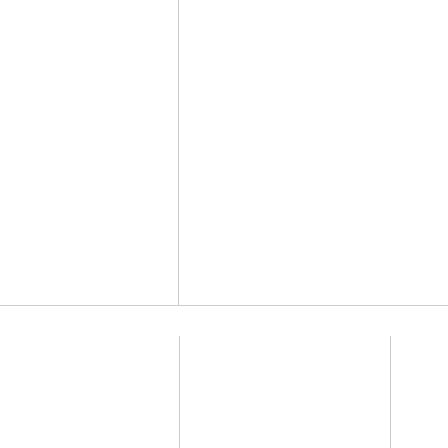|  |  |  |
| Class Test -4
(Science) |  | 1
2 |